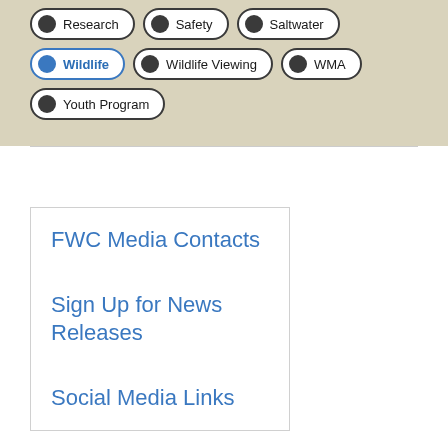[Figure (screenshot): Tag/filter buttons on a beige background: Research, Safety, Saltwater (row 1); Wildlife (selected/blue), Wildlife Viewing, WMA (row 2); Youth Program (row 3)]
FWC Media Contacts
Sign Up for News Releases
Social Media Links